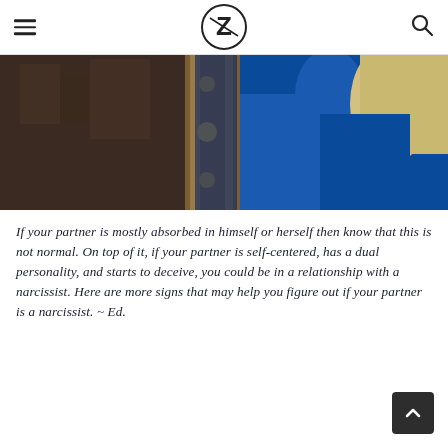Z (logo)
[Figure (photo): A woman in a blue dress looking at herself in an ornate antique mirror with gold/bronze frame against a dark background]
If your partner is mostly absorbed in himself or herself then know that this is not normal. On top of it, if your partner is self-centered, has a dual personality, and starts to deceive, you could be in a relationship with a narcissist. Here are more signs that may help you figure out if your partner is a narcissist. ~ Ed.